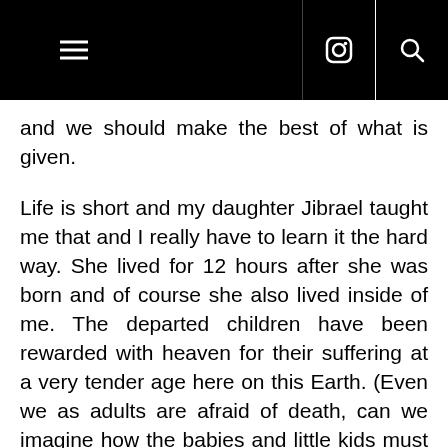navigation bar with hamburger menu, instagram icon, and search icon
and we should make the best of what is given.
Life is short and my daughter Jibrael taught me that and I really have to learn it the hard way. She lived for 12 hours after she was born and of course she also lived inside of me. The departed children have been rewarded with heaven for their suffering at a very tender age here on this Earth. (Even we as adults are afraid of death, can we imagine how the babies and little kids must have felt...? I can't imagine the pain that the have to go through in this world when they were fighting for life)